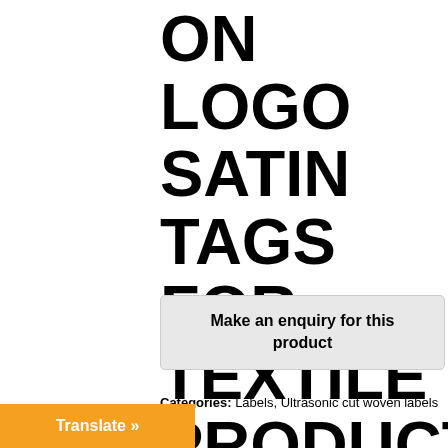ON LOGO SATIN TAGS FOR TEXTILE PRODUCTS
Make an enquiry for this product
Categories: Labels, Ultrasonic cut woven labels
logo
Translate »